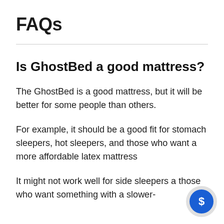FAQs
Is GhostBed a good mattress?
The GhostBed is a good mattress, but it will be better for some people than others.
For example, it should be a good fit for stomach sleepers, hot sleepers, and those who want a more affordable latex mattress
It might not work well for side sleepers and those who want something with a slower-